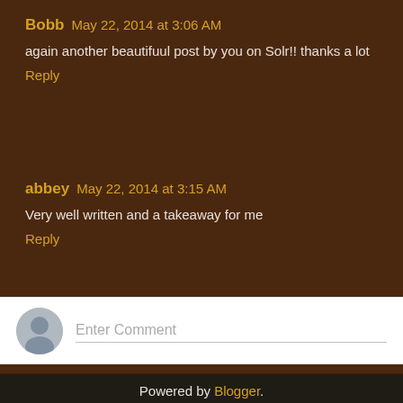Bobb May 22, 2014 at 3:06 AM
again another beautifuul post by you on Solr!! thanks a lot
Reply
abbey May 22, 2014 at 3:15 AM
Very well written and a takeaway for me
Reply
[Figure (other): Comment input field with avatar placeholder and 'Enter Comment' placeholder text]
Home
View web version
Powered by Blogger.